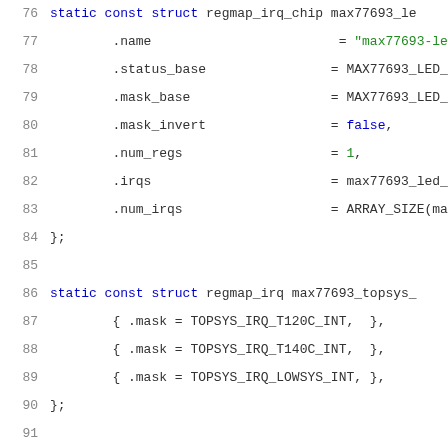[Figure (screenshot): Source code snippet in C showing regmap_irq_chip and regmap_irq struct definitions for max77693 LED and topsys IRQ chips, lines 76-96.]